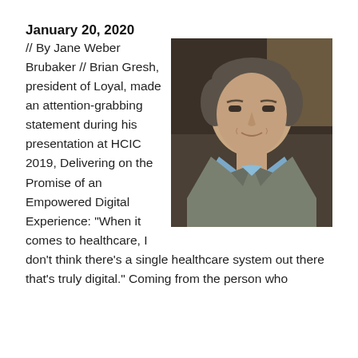January 20, 2020
[Figure (photo): Headshot of Brian Gresh, a middle-aged man with short grey-brown hair wearing a grey blazer over a blue shirt, smiling slightly against a dark blurred background.]
// By Jane Weber Brubaker // Brian Gresh, president of Loyal, made an attention-grabbing statement during his presentation at HCIC 2019, Delivering on the Promise of an Empowered Digital Experience: “When it comes to healthcare, I don’t think there’s a single healthcare system out there that’s truly digital.” Coming from the person who